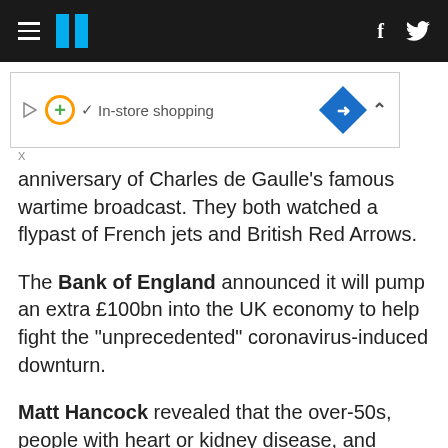HuffPost
[Figure (screenshot): Advertisement banner showing play button, orange circle with plus sign, checkmark, 'In-store shopping' text, blue diamond arrow icon, and collapse chevron]
anniversary of Charles de Gaulle’s famous wartime broadcast. They both watched a flypast of French jets and British Red Arrows.
The Bank of England announced it will pump an extra £100bn into the UK economy to help fight the “unprecedented” coronavirus-induced downturn.
Matt Hancock revealed that the over-50s, people with heart or kidney disease, and possibly BAME Britons, could all get priority for a vaccine